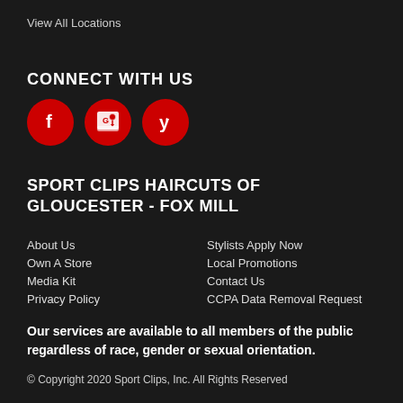View All Locations
CONNECT WITH US
[Figure (other): Three red circular social media icons: Facebook, Google Maps/Places, and Yelp]
SPORT CLIPS HAIRCUTS OF GLOUCESTER - FOX MILL
About Us
Stylists Apply Now
Own A Store
Local Promotions
Media Kit
Contact Us
Privacy Policy
CCPA Data Removal Request
Our services are available to all members of the public regardless of race, gender or sexual orientation.
© Copyright 2020 Sport Clips, Inc. All Rights Reserved